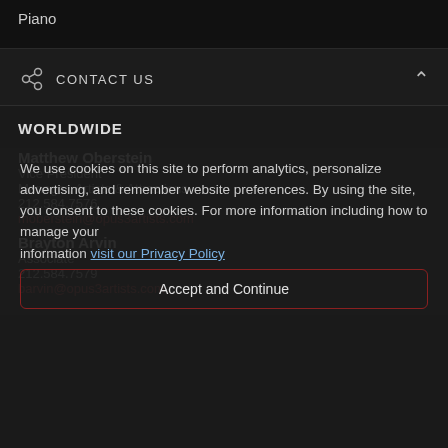Piano
CONTACT US
WORLDWIDE
Matthew Oberstein
Vice President
Manager, Artists & Attractions
212.584.7576
moberstein@opus3artists.com
We use cookies on this site to perform analytics, personalize advertising, and remember website preferences. By using the site, you consent to these cookies. For more information including how to manage your
Brayton Arvin
Associate
212.584.7579
barvin@opus3artists.com
visit our Privacy Policy
Accept and Continue
Garrett McCloskey
Administrative Assistant